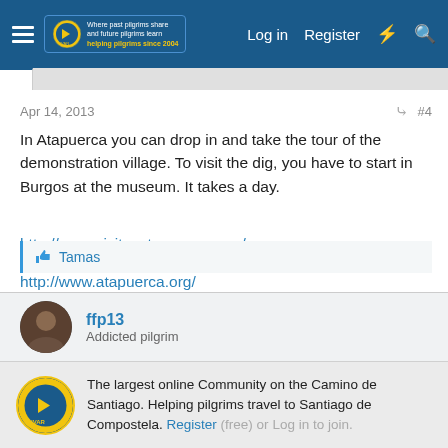Log in  Register
Apr 14, 2013  #4
In Atapuerca you can drop in and take the tour of the demonstration village. To visit the dig, you have to start in Burgos at the museum. It takes a day.
http://www.visitasatapuerca.com/
http://www.atapuerca.org/
Tamas
ffp13
Addicted pilgrim
The largest online Community on the Camino de Santiago. Helping pilgrims travel to Santiago de Compostela. Register (free) or Log in to join.